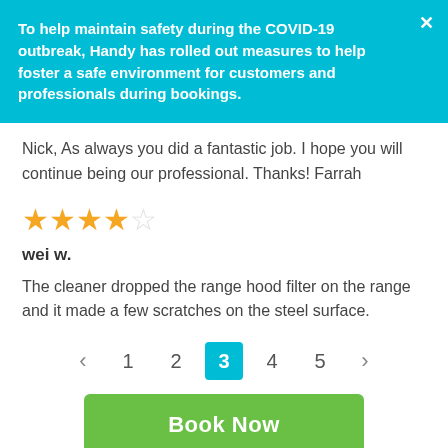To help maintain safety during the COVID-19 outbreak, Handy has rolled out measures to help foster a safe environment for customers and professionals during bookings.
Nick, As always you did a fantastic job. I hope you will continue being our professional. Thanks! Farrah
★★★★☆
wei w.
The cleaner dropped the range hood filter on the range and it made a few scratches on the steel surface.
Pagination: < 1 2 3 4 5 >
Book Now